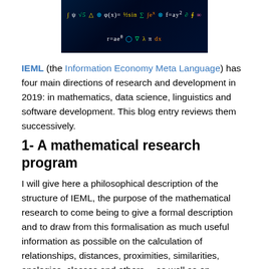[Figure (photo): A chalkboard-style image showing various mathematical formulas, symbols, and geometric shapes in colorful chalk on a dark background.]
IEML (the Information Economy Meta Language) has four main directions of research and development in 2019: in mathematics, data science, linguistics and software development. This blog entry reviews them successively.
1- A mathematical research program
I will give here a philosophical description of the structure of IEML, the purpose of the mathematical research to come being to give a formal description and to draw from this formalisation as much useful information as possible on the calculation of relationships, distances, proximities, similarities, analogies, classes and others… as well as on